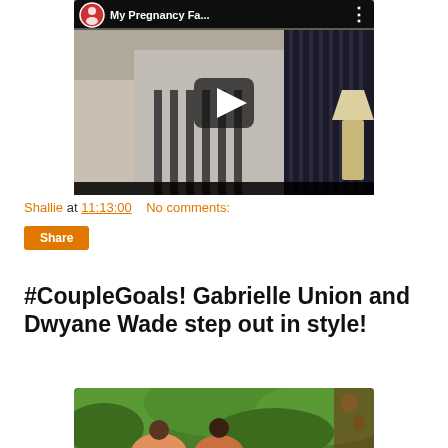[Figure (screenshot): YouTube video thumbnail titled 'My Pregnancy Fa...' showing a woman in a black and white striped outfit holding a product, with a play button overlay and channel avatar]
Shallie at 11:13:00    No comments:
Share
#CoupleGoals! Gabrielle Union and Dwyane Wade step out in style!
[Figure (photo): Photo of a couple outdoors with green foliage in background — partially visible at bottom of page]